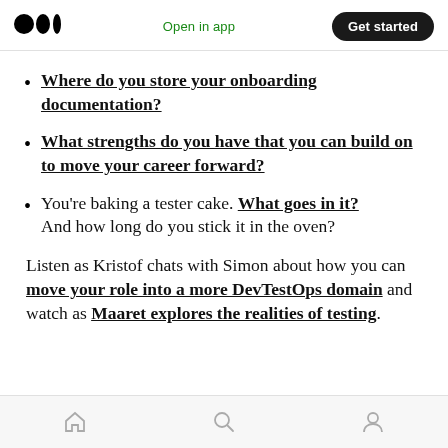Medium logo | Open in app | Get started
Where do you store your onboarding documentation?
What strengths do you have that you can build on to move your career forward?
You're baking a tester cake. What goes in it? And how long do you stick it in the oven?
Listen as Kristof chats with Simon about how you can move your role into a more DevTestOps domain and watch as Maaret explores the realities of testing.
Home | Search | Profile